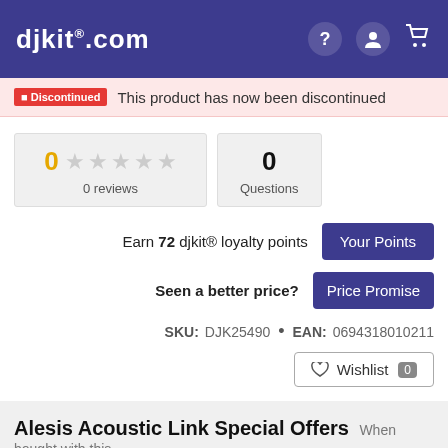djkit.com
Discontinued — This product has now been discontinued
0 ☆☆☆☆☆ 0 reviews
0 Questions
Earn 72 djkit® loyalty points
Seen a better price?
SKU: DJK25490 • EAN: 0694318010211
♡ Wishlist 0
Alesis Acoustic Link Special Offers When bought with this product